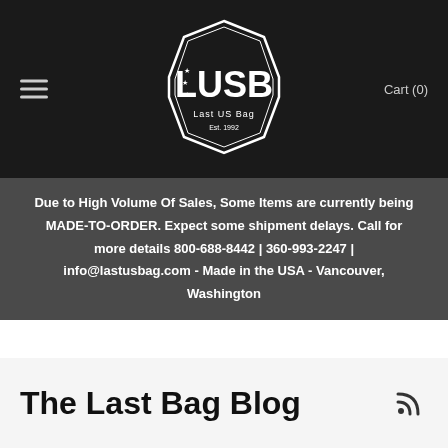[Figure (logo): LUSB Last US Bag Est. 1992 hexagonal badge logo in white on black background]
Cart (0)
Due to High Volume Of Sales, Some Items are currently being MADE-TO-ORDER. Expect some shipment delays. Call for more details 800-688-8442 | 360-993-2247 | info@lastusbag.com - Made in the USA - Vancouver, Washington
The Last Bag Blog